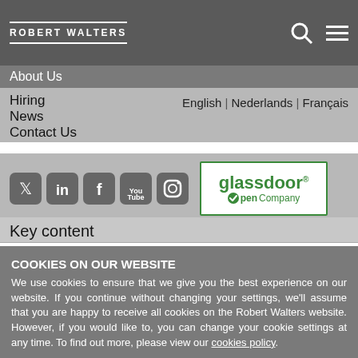ROBERT WALTERS
About Us
Hiring
News
Contact Us
English | Nederlands | Français
[Figure (logo): Social media icons: Twitter, LinkedIn, Facebook, YouTube, Instagram]
[Figure (logo): Glassdoor Open Company logo with green border]
Key content
COOKIES ON OUR WEBSITE
We use cookies to ensure that we give you the best experience on our website. If you continue without changing your settings, we'll assume that you are happy to receive all cookies on the Robert Walters website. However, if you would like to, you can change your cookie settings at any time. To find out more, please view our cookies policy.
Ok, I agree
No, give me more information